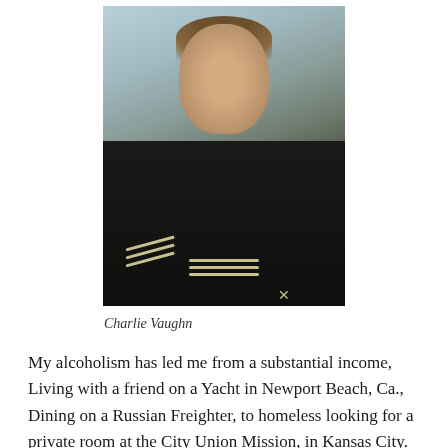[Figure (photo): Sepia-toned vintage portrait photograph of a young man in a US Navy sailor uniform, identified as Charlie Vaughn. He is wearing a dark navy uniform with white collar stripes and sleeve rating chevrons.]
Charlie Vaughn
My alcoholism has led me from a substantial income, Living with a friend on a Yacht in Newport Beach, Ca., Dining on a Russian Freighter, to homeless looking for a private room at the City Union Mission, in Kansas City. Then I graduated to a 76 bed recovery house in the ghetto. I only have 3 years of continuous sobriety now, but I have living experiences that